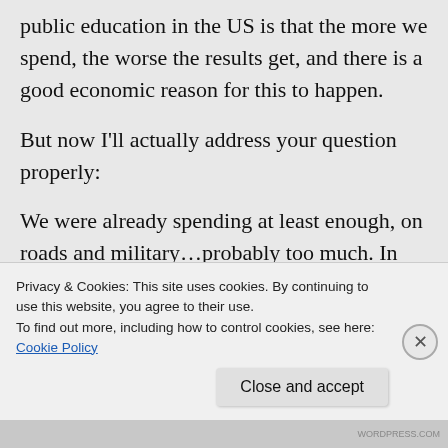public education in the US is that the more we spend, the worse the results get, and there is a good economic reason for this to happen.
But now I'll actually address your question properly:
We were already spending at least enough, on roads and military…probably too much. In fact, the interstate highway trust fund has
Privacy & Cookies: This site uses cookies. By continuing to use this website, you agree to their use.
To find out more, including how to control cookies, see here: Cookie Policy